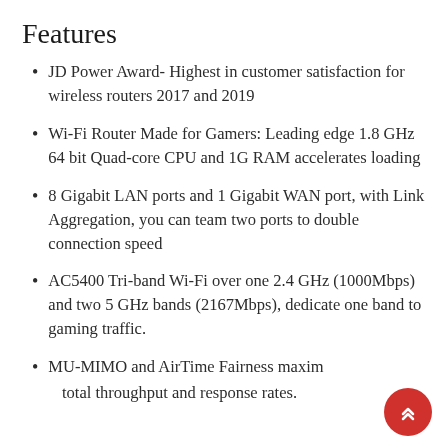Features
JD Power Award- Highest in customer satisfaction for wireless routers 2017 and 2019
Wi-Fi Router Made for Gamers: Leading edge 1.8 GHz 64 bit Quad-core CPU and 1G RAM accelerates loading
8 Gigabit LAN ports and 1 Gigabit WAN port, with Link Aggregation, you can team two ports to double connection speed
AC5400 Tri-band Wi-Fi over one 2.4 GHz (1000Mbps) and two 5 GHz bands (2167Mbps), dedicate one band to gaming traffic.
MU-MIMO and AirTime Fairness maximize total throughput and response rates.